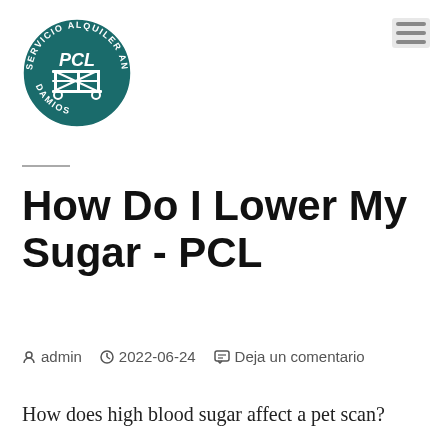[Figure (logo): PCL Servicio Alquiler Andamios circular logo — dark teal circle with white text around the border reading SERVICIO ALQUILER ANDAMIOS and PCL in bold italic in the center with a scaffolding icon]
How Do I Lower My Sugar - PCL
admin  2022-06-24  Deja un comentario
How does high blood sugar affect a pet scan?